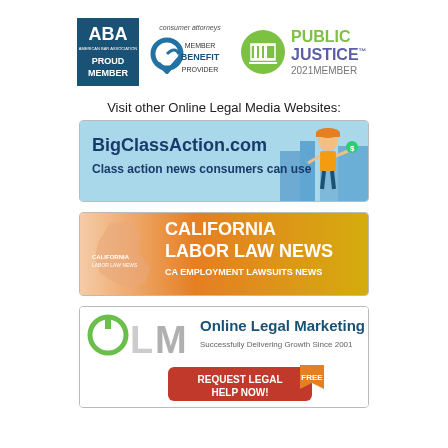[Figure (logo): ABA Proud Member logo, Consumer Attorneys Member Benefit Provider logo, Public Justice 2021 Member logo with green building icon]
Visit other Online Legal Media Websites:
[Figure (illustration): BigClassAction.com banner - Class action news consumers can use, light blue background with cartoon construction worker character holding money]
[Figure (illustration): California Labor Law News banner - CA Employment Lawsuits News, orange/gold gradient with California silhouette]
[Figure (illustration): Online Legal Marketing banner - Successfully Delivering Growth Since 2001, OLM logo with green power button, red Request Legal Help Now button with FREE badge]